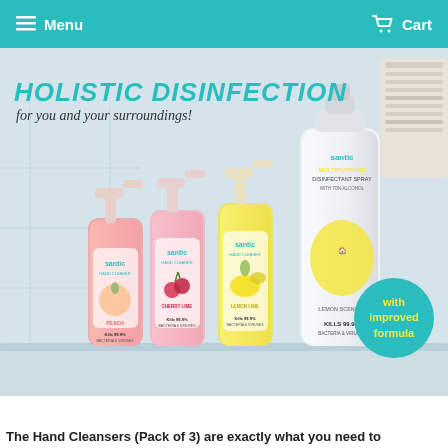Menu  Cart
[Figure (photo): Product photo showing Santic hand cleansers (Peach, Cherry, Lemon scents) and a Santic Multipurpose Disinfectant Spray with 'KILLS 99.9% BACTERIA & VIRUSES' label, on a light bathroom background. A teal circle badge reads 'with improved formula'. Title text: 'HOLISTIC DISINFECTION for you and your surroundings!']
The Hand Cleansers (Pack of 3) are exactly what you need to